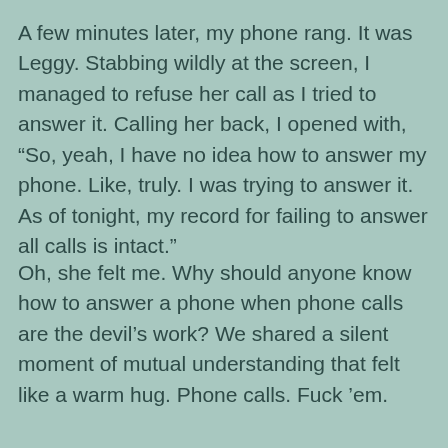A few minutes later, my phone rang. It was Leggy. Stabbing wildly at the screen, I managed to refuse her call as I tried to answer it. Calling her back, I opened with, “So, yeah, I have no idea how to answer my phone. Like, truly. I was trying to answer it. As of tonight, my record for failing to answer all calls is intact.”
Oh, she felt me. Why should anyone know how to answer a phone when phone calls are the devil’s work? We shared a silent moment of mutual understanding that felt like a warm hug. Phone calls. Fuck ’em.